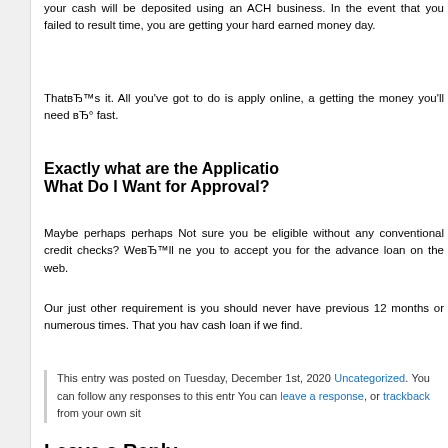your cash will be deposited using an ACH business. In the event that you failed to result time, you are getting your hard earned money day.
ThatвЂ™s it. All you've got to do is apply online, a getting the money you'll need вЂ° fast.
Exactly what are the Application What Do I Want for Approval?
Maybe perhaps perhaps Not sure you be eligible without any conventional credit checks? WeвЂ™ll ne you to accept you for the advance loan on the web.
Our just other requirement is you should never have previous 12 months or numerous times. That you hav cash loan if we find.
This entry was posted on Tuesday, December 1st, 2020 Uncategorized. You can follow any responses to this entr You can leave a response, or trackback from your own sit
Leave a Reply